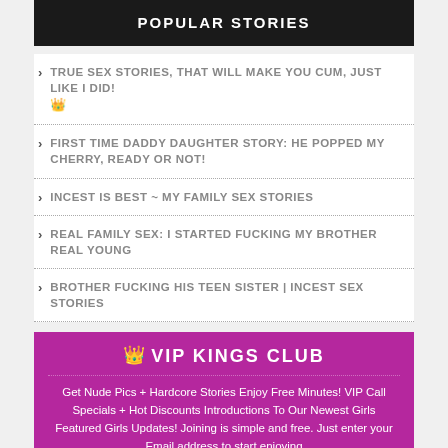POPULAR STORIES
TRUE SEX STORIES, THAT WILL MAKE YOU CUM, JUST LIKE I DID! 👑
FIRST TIME DADDY DAUGHTER STORY: HE POPPED MY CHERRY, READY OR NOT!
INCEST IS BEST ~ MY FAMILY SEX STORIES
REAL FAMILY SEX: I STARTED FUCKING MY BROTHER REAL YOUNG
BROTHER FUCKING HIS TEEN SISTER | INCEST SEX STORIES
👑 VIP KINGS CLUB
Get Nude Pics + Hardcore Stories Enjoy Free Minutes! VIP Call Specials + Hot Discounts Introductions To Our Newest Girls Featured Girls Updates! Joining is simple and free. Just enter your Email address to start enjoying